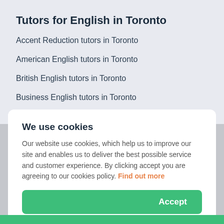Tutors for English in Toronto
Accent Reduction tutors in Toronto
American English tutors in Toronto
British English tutors in Toronto
Business English tutors in Toronto
CAE tutors in Toronto
We use cookies
Our website use cookies, which help us to improve our site and enables us to deliver the best possible service and customer experience. By clicking accept you are agreeing to our cookies policy. Find out more